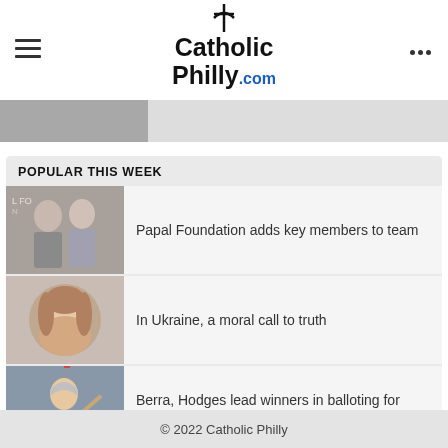CatholicPhilly.com
[Figure (screenshot): Partial image strip visible below header]
POPULAR THIS WEEK
Papal Foundation adds key members to team
In Ukraine, a moral call to truth
Berra, Hodges lead winners in balloting for Catholic baseball all-star team
© 2022 Catholic Philly